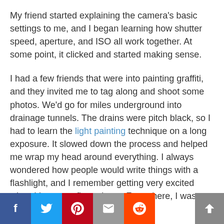My friend started explaining the camera's basic settings to me, and I began learning how shutter speed, aperture, and ISO all work together. At some point, it clicked and started making sense.
I had a few friends that were into painting graffiti, and they invited me to tag along and shoot some photos. We'd go for miles underground into drainage tunnels. The drains were pitch black, so I had to learn the light painting technique on a long exposure. It slowed down the process and helped me wrap my head around everything. I always wondered how people would write things with a flashlight, and I remember getting very excited when I began to figure it out. From there, I was hooked and got really into it.
I spent a couple of years going into the tunnels experimenting with whatever light source I could find. Eventually, I decid... of my friends
[Figure (infographic): Social share bar with Facebook, Twitter, Pinterest, Email, and Reddit buttons, plus a scroll-to-top button on the right]